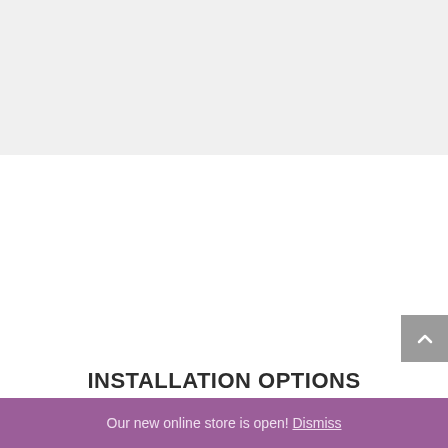INSTALLATION OPTIONS
Research your options with our real examples
Our new online store is open! Dismiss